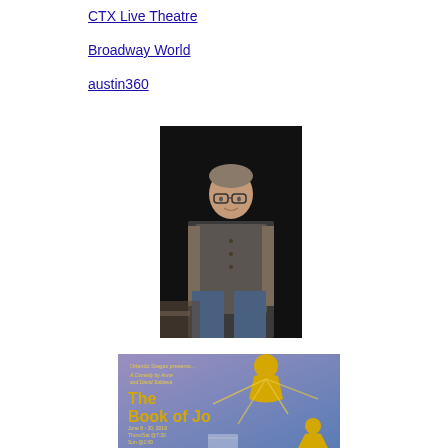CTX Live Theatre
Broadway World
austin360
[Figure (photo): A man wearing glasses, a grey cardigan vest over a plaid shirt, and jeans, standing on a dark stage.]
[Figure (illustration): Promotional poster for 'The Book of Jo' presented by Orlando Stages. Features cartoon characters in yellow on a purple/blue background. Text includes 'A Comedy by Anne and David Saldana', 'June 8-30, 2018', 'Thurs/Sat @7:30', 'Sun @2:00'.]